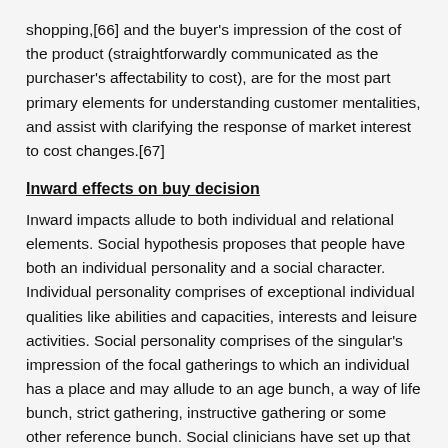shopping,[66] and the buyer's impression of the cost of the product (straightforwardly communicated as the purchaser's affectability to cost), are for the most part primary elements for understanding customer mentalities, and assist with clarifying the response of market interest to cost changes.[67]
Inward effects on buy decision
Inward impacts allude to both individual and relational elements. Social hypothesis proposes that people have both an individual personality and a social character. Individual personality comprises of exceptional individual qualities like abilities and capacities, interests and leisure activities. Social personality comprises of the singular's impression of the focal gatherings to which an individual has a place and may allude to an age bunch, a way of life bunch, strict gathering, instructive gathering or some other reference bunch. Social clinicians have set up that the need to have a place is one of the essential human needs.[68] Purchasing conduct is in this way impacted by a wide scope of inward factors, for example